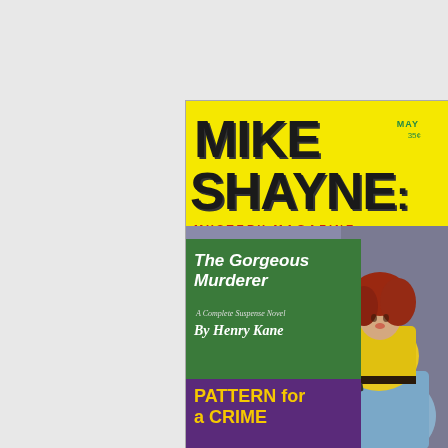[Figure (photo): Partial view of top portion of another magazine cover showing dark/greenish imagery, cropped at bottom]
[Figure (illustration): Mike Shayne Mystery Magazine cover, May issue, 35 cents. Yellow background with large black bold title 'MIKE SHAYNE' at top and 'MYSTERY MAGAZINE' in red. Green box on lower left with text 'The Gorgeous Murderer, A Complete Suspense Novel, By Henry Kane'. Purple box below with 'PATTERN for a CRIME' in yellow. Right side shows painted illustration of a red-haired woman in yellow blouse and blue skirt holding a gun.]